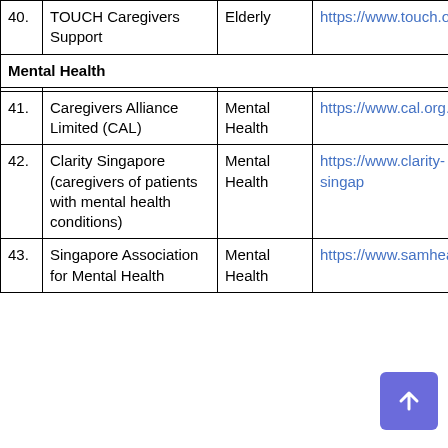| # | Name | Category | URL |
| --- | --- | --- | --- |
| 40. | TOUCH Caregivers Support | Elderly | https://www.touch.org.sg/... |
| Mental Health |  |  |  |
| 41. | Caregivers Alliance Limited (CAL) | Mental Health | https://www.cal.org.sg/ab... |
| 42. | Clarity Singapore (caregivers of patients with mental health conditions) | Mental Health | https://www.clarity-singap... |
| 43. | Singapore Association for Mental Health | Mental Health | https://www.samhealth.or... |